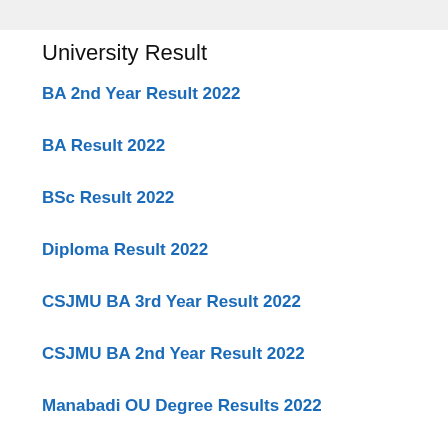University Result
BA 2nd Year Result 2022
BA Result 2022
BSc Result 2022
Diploma Result 2022
CSJMU BA 3rd Year Result 2022
CSJMU BA 2nd Year Result 2022
Manabadi OU Degree Results 2022